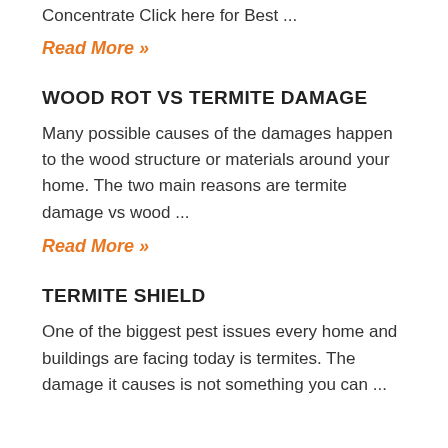Concentrate Click here for Best ...
Read More »
WOOD ROT VS TERMITE DAMAGE
Many possible causes of the damages happen to the wood structure or materials around your home. The two main reasons are termite damage vs wood ...
Read More »
TERMITE SHIELD
One of the biggest pest issues every home and buildings are facing today is termites. The damage it causes is not something you can ...